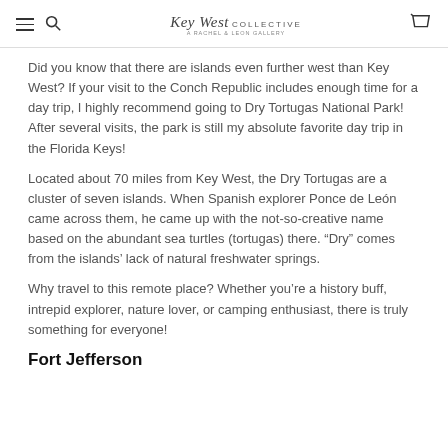Key West COLLECTIVE A RACHEL & LEON GALLERY
Did you know that there are islands even further west than Key West? If your visit to the Conch Republic includes enough time for a day trip, I highly recommend going to Dry Tortugas National Park! After several visits, the park is still my absolute favorite day trip in the Florida Keys!
Located about 70 miles from Key West, the Dry Tortugas are a cluster of seven islands. When Spanish explorer Ponce de León came across them, he came up with the not-so-creative name based on the abundant sea turtles (tortugas) there. “Dry” comes from the islands’ lack of natural freshwater springs.
Why travel to this remote place? Whether you’re a history buff, intrepid explorer, nature lover, or camping enthusiast, there is truly something for everyone!
Fort Jefferson